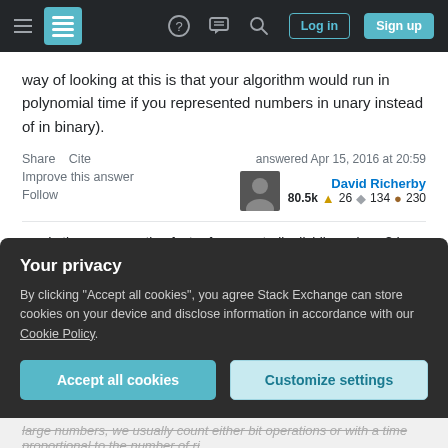Stack Exchange navigation bar with logo, help, chat, search, login, signup buttons
way of looking at this is that your algorithm would run in polynomial time if you represented numbers in unary instead of in binary).
Share   Cite
Improve this answer
Follow

answered Apr 15, 2016 at 20:59
David Richerby
80.5k  26  134  230
Is there a correction factor for repeatedly dividing primes? I imagine it would not be very significant, so the second would require about O(2^{b/2} / ln 2^{b/2})
Your privacy
By clicking "Accept all cookies", you agree Stack Exchange can store cookies on your device and disclose information in accordance with our Cookie Policy.
Accept all cookies   Customize settings
large numbers, we usually count either bit operations or with a time proportional to the number of ri...